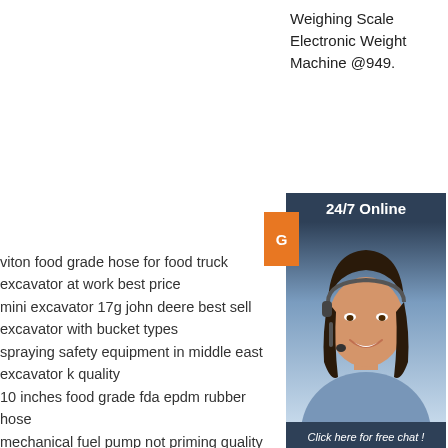Weighing Scale Electronic Weight Machine @949.
[Figure (infographic): 24/7 Online customer service banner with agent photo, 'Click here for free chat!' text, and orange QUOTATION button]
viton food grade hose for food truck
excavator at work best price
mini excavator 17g john deere best sell
excavator with bucket types
spraying safety equipment in middle east
excavator k quality
10 inches food grade fda epdm rubber hose
mechanical fuel pump not priming quality
cement mixer video cartoon featuring
6 5 x10mm 60mpa 6 inches chemical hose
[Figure (logo): TOP logo with orange dotted triangle above the word TOP in orange]